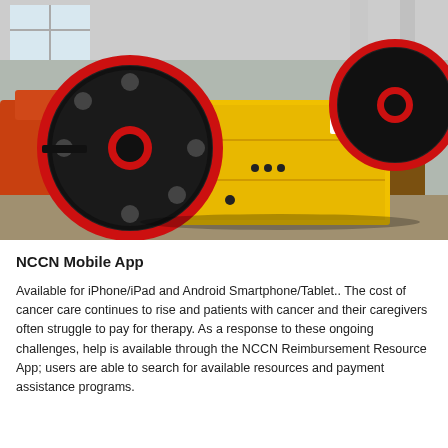[Figure (photo): A yellow industrial jaw crusher machine with large black and red flywheels, sitting on wooden pallets inside a factory or warehouse. Orange machinery visible on the left and blue barrels/equipment in the background.]
NCCN Mobile App
Available for iPhone/iPad and Android Smartphone/Tablet.. The cost of cancer care continues to rise and patients with cancer and their caregivers often struggle to pay for therapy. As a response to these ongoing challenges, help is available through the NCCN Reimbursement Resource App; users are able to search for available resources and payment assistance programs.